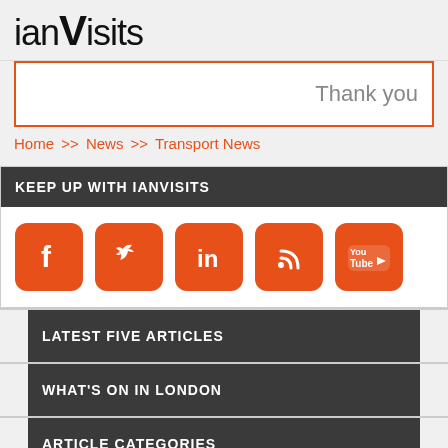ianVisits
Thank you
Home >> News >> Transport News
KEEP UP WITH IANVISITS
[Figure (infographic): Social media icons: Facebook, Twitter, LinkedIn, RSS, YouTube — all orange rounded square buttons]
LATEST FIVE ARTICLES
WHAT'S ON IN LONDON
ARTICLE CATEGORIES